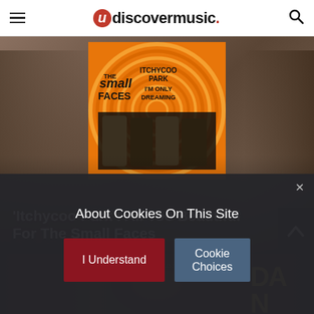udiscovermusic.
[Figure (photo): Small Faces 'Itchycoo Park / I'm Only Dreaming' single cover art with orange swirl background and band photo, overlaid on blurred background image]
'Itchycoo Park': All Too Beautiful For The Small Faces
[Figure (photo): Roxy Music 'Dance Away' album cover partially visible]
About Cookies On This Site
I Understand
Cookie Choices